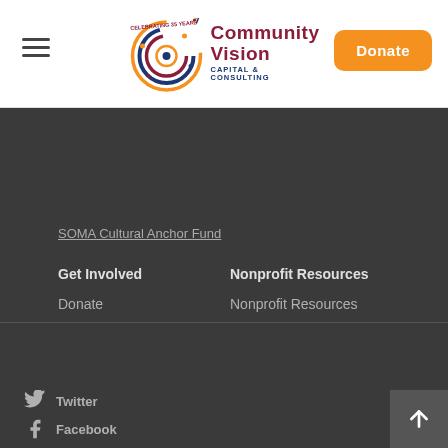Community Vision Capital & Consulting — 35 Years
[Figure (logo): Community Vision Capital & Consulting logo with 35 years celebration ring]
Donate
SOMA Cultural Anchor Fund
Get Involved
Donate
Invest in Us
Careers
Nonprofit Resources
Nonprofit Resources
Twitter
Facebook